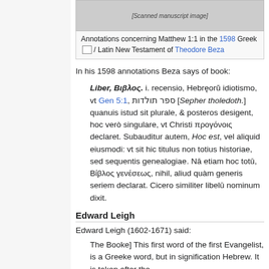[Figure (photo): Scanned page of 1598 Greek/Latin New Testament of Theodore Beza showing annotations for Matthew 1:1]
Annotations concerning Matthew 1:1 in the 1598 Greek / Latin New Testament of Theodore Beza
In his 1598 annotations Beza says of book:
Liber, Βιβλος. i. recensio, Hebreorum idiotismo, vt Gen 5:1, ספר תולדות [Sepher tholedoth.] quanuis istud sit plurale, & posteros desigent, hoc verò singulare, vt Christi προγόνοις declaret. Subauditur autem, Hoc est, vel aliquid eiusmodi: vt sit hic titulus non totius historiae, sed sequentis genealogiae. Nā etiam hoc totū, Βίβλος γενέσεως, nihil, aliud quàm generis seriem declarat. Cicero similiter libellū nominum dixit.
Edward Leigh
Edward Leigh (1602-1671) said:
The Booke] This first word of the first Evangelist, is a Greeke word, but in signification Hebrew. It is taken after the